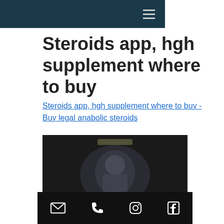≡
Steroids app, hgh supplement where to buy
Steroids app, hgh supplement where to buy - Buy legal anabolic steroids
[Figure (screenshot): Dark blurred screenshot of a steroids app showing product images at the bottom with colorful supplement bottles]
Email | Phone | Instagram | Facebook icons